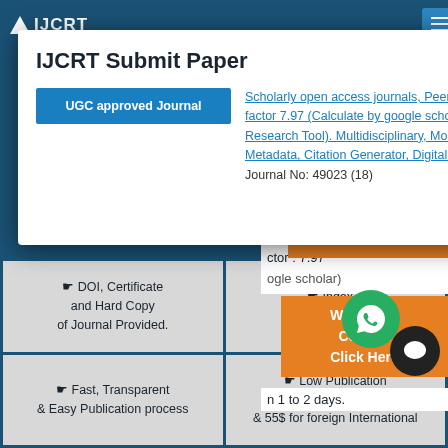IJCRT Submit Paper
[Figure (screenshot): UGC approved Journal button in teal/blue color]
Scholarly open access journals, Peer-reviewed, and Refereed Journals, Impact factor 7.97 (Calculate by google scholar and Semantic Scholar | AI-Powered Research Tool). Multidisciplinary, Monthly, Indexing in all major database & Metadata, Citation Generator, Digital Object Identifier(DOI) UGC Approved Journal No: 49023 (18)
Contact Us
Paper Details
ctor : 7.97
WhatsApp Contact Click Here
n 1 to 2 days.
Contact Us Click Here
DOI, Certificate and Hard Copy of Journal Provided.
Index major open
Low Publication of ₹1500 INR for Indian & 55$ for foreign International
Fast, Transparent & Easy Publication process